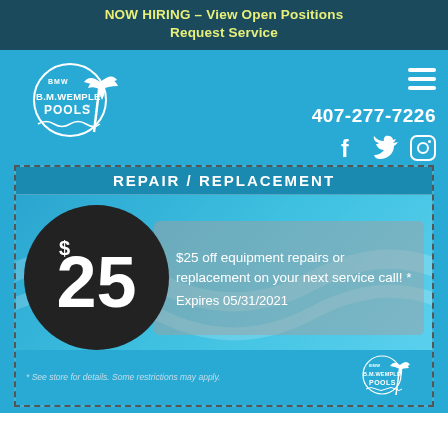NOW HIRING – View Open Positions
Request Service
[Figure (logo): B.M. Wemple Pools logo with palm tree and circular badge]
407-277-7226
[Figure (infographic): Social media icons: Facebook, Twitter, Instagram]
REPAIR / REPLACEMENT
[Figure (infographic): Coupon showing $25 off equipment repairs or replacement on your next service call. Expires 05/31/2021. B.M. Wemple Pools logo in footer.]
* See store for details. Some restrictions may apply.